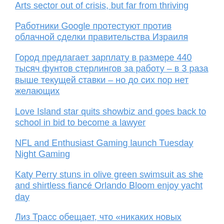Arts sector out of crisis, but far from thriving
Работники Google протестуют против облачной сделки правительства Израиля
Город предлагает зарплату в размере 440 тысяч фунтов стерлингов за работу – в 3 раза выше текущей ставки – но до сих пор нет желающих
Love Island star quits showbiz and goes back to school in bid to become a lawyer
NFL and Enthusiast Gaming launch Tuesday Night Gaming
Katy Perry stuns in olive green swimsuit as she and shirtless fiancé Orlando Bloom enjoy yacht day
Лиз Трасс обещает, что «никаких новых налогов не будет», если она станет